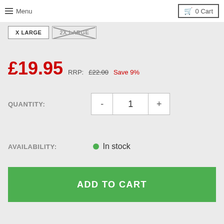Menu | 0 Cart
X LARGE
2X LARGE
£19.95  RRP: £22.00  Save 9%
QUANTITY: - 1 +
AVAILABILITY: In stock
ADD TO CART